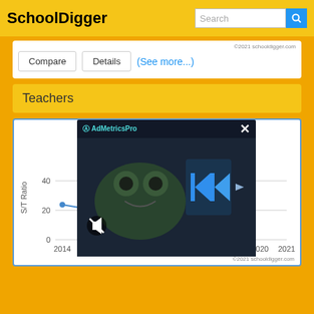SchoolDigger | Search
[Figure (screenshot): Top portion of a card showing copyright '©2021 schooldigger.com']
Compare | Details | (See more...)
Teachers
[Figure (line-chart): Student/Teacher Ratio]
[Figure (screenshot): AdMetricsPro video ad overlay with animated monster character and play button, mute button visible]